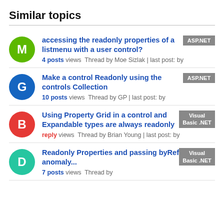Similar topics
accessing the readonly properties of a listmenu with a user control? — 4 posts views Thread by Moe Sizlak | last post: by — ASP.NET
Make a control Readonly using the controls Collection — 10 posts views Thread by GP | last post: by — ASP.NET
Using Property Grid in a control and Expandable types are always readonly — reply views Thread by Brian Young | last post: by — Visual Basic .NET
Readonly Properties and passing byRef anomaly... — 7 posts views Thread by — Visual Basic .NET